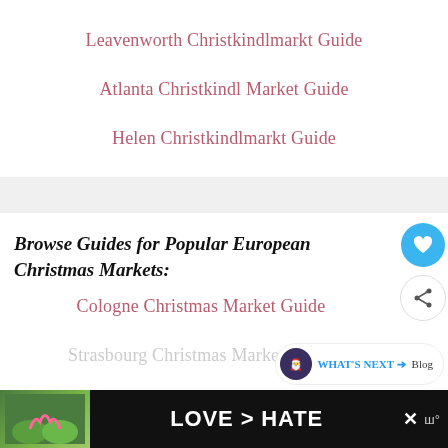Leavenworth Christkindlmarkt Guide
Atlanta Christkindl Market Guide
Helen Christkindlmarkt Guide
Browse Guides for Popular European Christmas Markets:
Cologne Christmas Market Guide
Strasbourg Christmas Market Guide
[Figure (screenshot): Love > Hate advertisement banner at the bottom of the page]